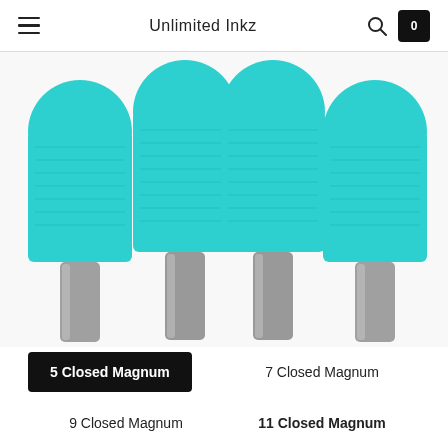Unlimited Inkz
[Figure (photo): Four turquoise/teal textured rubber grip handles for tattoo machines with silver metal tips pointing downward, viewed from above against a white background. Each grip has a diamond-pattern texture and a cylindrical metal stem.]
5 Closed Magnum
7 Closed Magnum
9 Closed Magnum
11 Closed Magnum